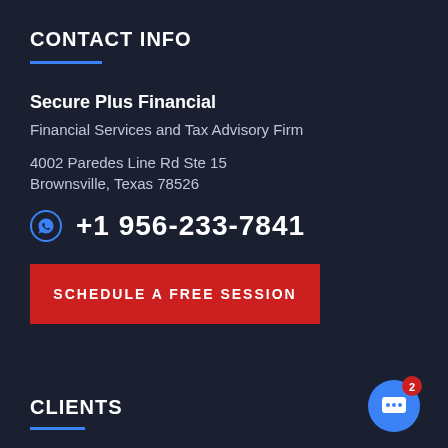CONTACT INFO
Secure Plus Financial
Financial Services and Tax Advisory Firm
4002 Paredes Line Rd Ste 15
Brownsville, Texas 78526
+1 956-233-7841
SCHEDULE A FREE SESSION
CLIENTS
[Figure (other): Blue circular chat/messaging icon with a notification badge showing the number 2]